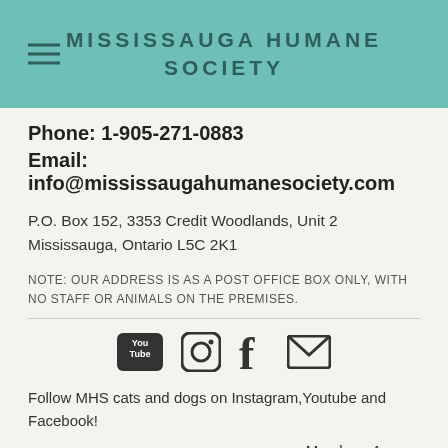MISSISSAUGA HUMANE SOCIETY
Phone: 1-905-271-0883
Email: info@mississaugahumanesociety.com
P.O. Box 152,  3353 Credit Woodlands, Unit 2
Mississauga, Ontario  L5C 2K1
NOTE:  OUR ADDRESS IS AS A POST OFFICE BOX ONLY, WITH NO STAFF OR ANIMALS ON THE PREMISES.
[Figure (infographic): Social media icons: YouTube, Instagram, Facebook, Email/envelope]
Follow MHS cats and dogs on Instagram,Youtube and Facebook!
Members Access